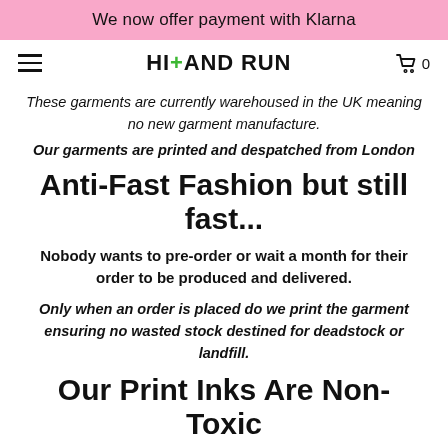We now offer payment with Klarna
[Figure (logo): HI+AND RUN logo with green plus sign, hamburger menu icon on left, cart icon with 0 on right]
These garments are currently warehoused in the UK meaning no new garment manufacture.
Our garments are printed and despatched from London
Anti-Fast Fashion but still fast...
Nobody wants to pre-order or wait a month for their order to be produced and delivered.
Only when an order is placed do we print the garment ensuring no wasted stock destined for deadstock or landfill.
Our Print Inks Are Non-Toxic